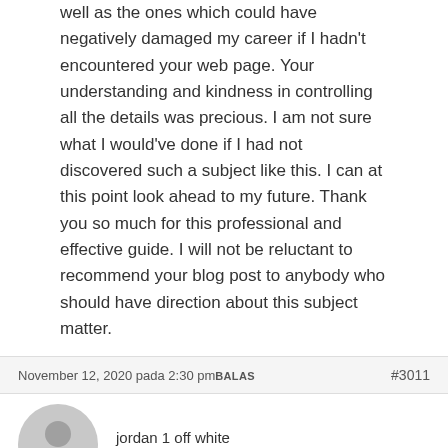well as the ones which could have negatively damaged my career if I hadn't encountered your web page. Your understanding and kindness in controlling all the details was precious. I am not sure what I would've done if I had not discovered such a subject like this. I can at this point look ahead to my future. Thank you so much for this professional and effective guide. I will not be reluctant to recommend your blog post to anybody who should have direction about this subject matter.
November 12, 2020 pada 2:30 pm BALAS   #3011
[Figure (illustration): Generic gray user avatar icon (silhouette of a person)]
jordan 1 off white
Tamu
I enjoy you because of every one of your work on this web page. My daughter takes pleasure in getting into research and it's really easy to understand why. My